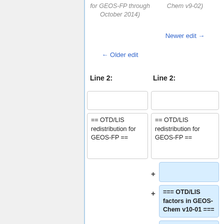for GEOS-FP through October 2014)
Chem v9-02)
← Older edit
Newer edit →
Line 2:
Line 2:
== OTD/LIS redistribution for GEOS-FP ==
== OTD/LIS redistribution for GEOS-FP ==
=== OTD/LIS factors in GEOS-Chem v10-01 ===
In [[GEOS-Chem v10-01]]